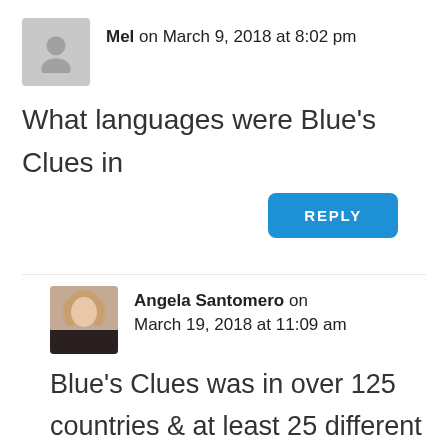Mel on March 9, 2018 at 8:02 pm
What languages were Blue’s Clues in
REPLY
Angela Santomero on March 19, 2018 at 11:09 am
Blue’s Clues was in over 125 countries & at least 25 different languages!  It’s